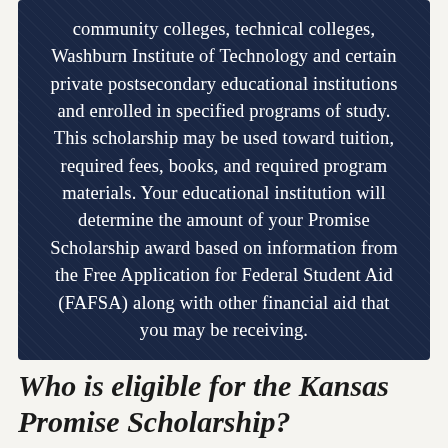community colleges, technical colleges, Washburn Institute of Technology and certain private postsecondary educational institutions and enrolled in specified programs of study. This scholarship may be used toward tuition, required fees, books, and required program materials. Your educational institution will determine the amount of your Promise Scholarship award based on information from the Free Application for Federal Student Aid (FAFSA) along with other financial aid that you may be receiving.
Who is eligible for the Kansas Promise Scholarship?